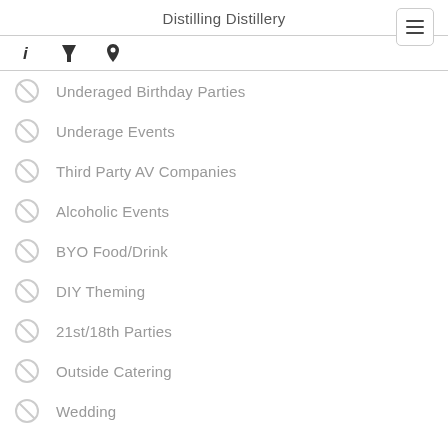Distilling Distillery
Underaged Birthday Parties
Underage Events
Third Party AV Companies
Alcoholic Events
BYO Food/Drink
DIY Theming
21st/18th Parties
Outside Catering
Wedding